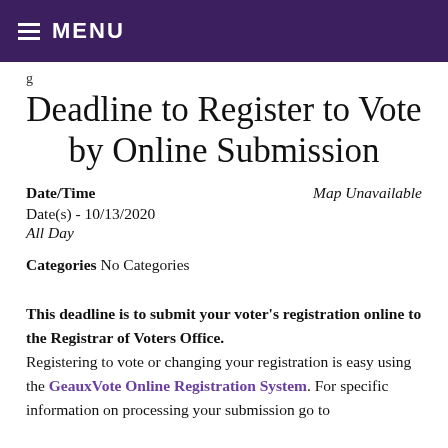≡ MENU
Deadline to Register to Vote by Online Submission
Date/Time
Date(s) - 10/13/2020
All Day
Map Unavailable
Categories No Categories
This deadline is to submit your voter's registration online to the Registrar of Voters Office. Registering to vote or changing your registration is easy using the GeaxVote Online Registration System. For specific information on processing your submission go to